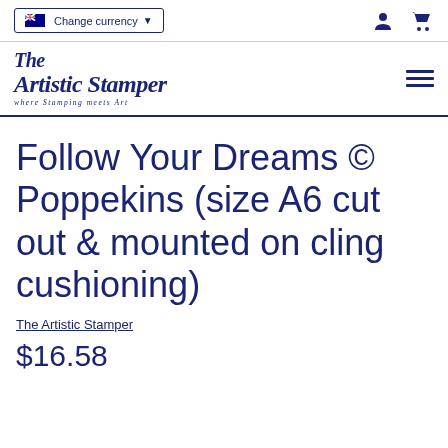Change currency | [user icon] [cart icon]
[Figure (logo): The Artistic Stamper logo with tagline 'where Stamping meets Art' and hamburger menu icon]
Follow Your Dreams © Poppekins (size A6 cut out & mounted on cling cushioning)
The Artistic Stamper
$16.58